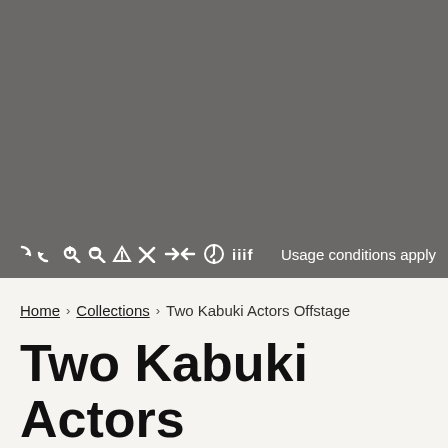[Figure (screenshot): Gray image viewer panel showing a dark gray background where an artwork image would be displayed]
Usage conditions apply
Home > Collections > Two Kabuki Actors Offstage
Two Kabuki Actors Offstage